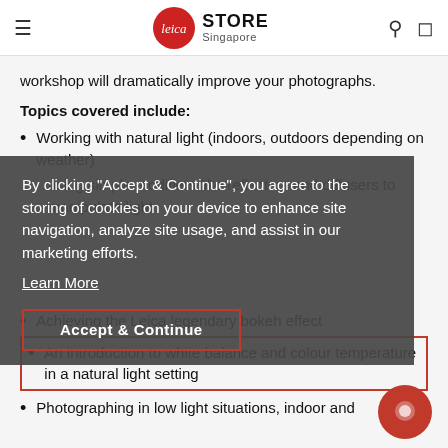Leica Store Singapore
workshop will dramatically improve your photographs.
Topics covered include:
Working with natural light (indoors, outdoors depending on weather)
using simple modifiers like reflectors and diffusers to manipulate light
By clicking "Accept & Continue", you agree to the storing of cookies on your device to enhance site navigation, analyze site usage, and assist in our marketing efforts.
Learn More
Achieving the Leica legendary bokeh effect
An introduction to white balance and colour temperature in a natural light setting
Photographing in low light situations, indoor and